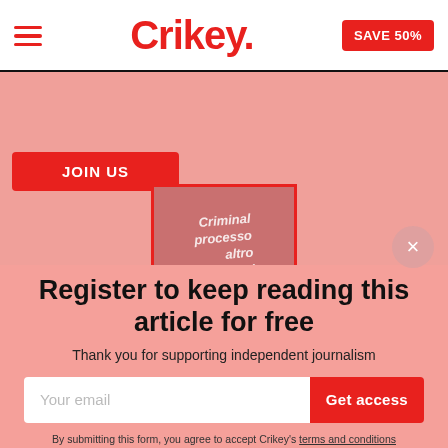Crikey. | SAVE 50%
[Figure (screenshot): Crikey website background showing JOIN US button and article image with red border]
Register to keep reading this article for free
Thank you for supporting independent journalism
Your email | Get access
By submitting this form, you agree to accept Crikey's terms and conditions
I'll do this later